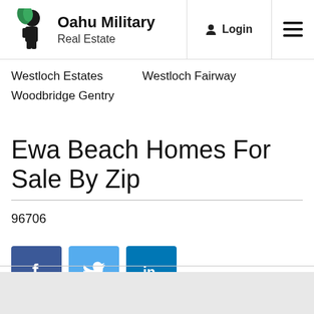Oahu Military Real Estate | Login | Menu
Westloch Estates
Westloch Fairway
Woodbridge Gentry
Ewa Beach Homes For Sale By Zip
96706
[Figure (infographic): Social share buttons: Facebook (f), Twitter (bird), LinkedIn (in)]